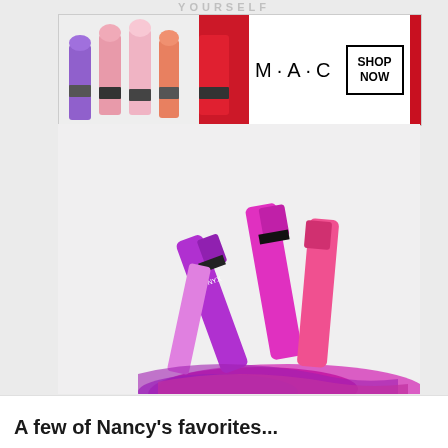YOURSELF
[Figure (photo): MAC Cosmetics advertisement banner showing colorful lipsticks on the left (purple, pink, light pink, red) with M·A·C logo in center and 'SHOP NOW' button in bordered box on the right with a red lipstick]
[Figure (photo): NYX Butter Gloss lipsticks and lip products in magenta, pink, coral and purple colors arranged diagonally with swatches]
A few of Nancy's favorites...
We use cookies on our website to give you the most relevant experience by remembering your preferences and repeat visits. By clicking “Accept”, you consent to the use of ALL the cookies.
Do not sell my personal information.
[Figure (photo): Seamless food delivery advertisement banner showing pizza slice image on the left, seamless logo on pink/red background in center, and 'ORDER NOW' button in bordered box on the right]